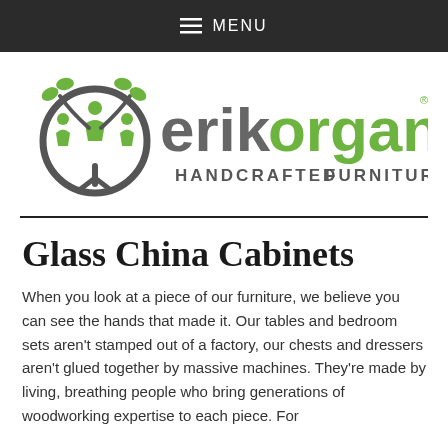≡ MENU
[Figure (logo): Erik Organic Handcrafted Furniture logo with tree/people icon in gray and green, text 'erik organic' with 'HANDCRAFTED FURNITURE' below]
Glass China Cabinets
When you look at a piece of our furniture, we believe you can see the hands that made it. Our tables and bedroom sets aren't stamped out of a factory, our chests and dressers aren't glued together by massive machines. They're made by living, breathing people who bring generations of woodworking expertise to each piece. For